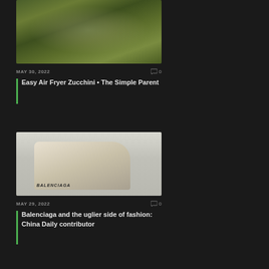[Figure (photo): Bowl of sauteed zucchini slices]
MAY 30, 2022    ⌨ 0
Easy Air Fryer Zucchini • The Simple Parent
[Figure (photo): Balenciaga high-top sneaker shoe]
MAY 29, 2022    ⌨ 0
Balenciaga and the uglier side of fashion: China Daily contributor